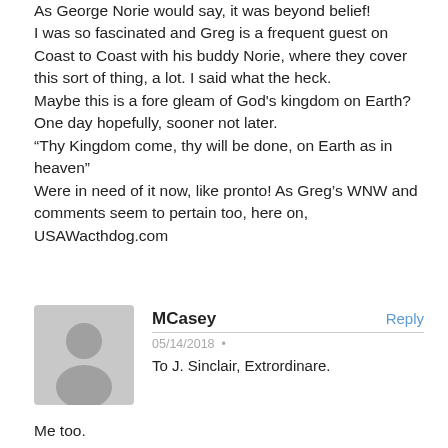As George Norie would say, it was beyond belief!
I was so fascinated and Greg is a frequent guest on Coast to Coast with his buddy Norie, where they cover this sort of thing, a lot. I said what the heck.
Maybe this is a fore gleam of God's kingdom on Earth? One day hopefully, sooner not later.
“Thy Kingdom come, thy will be done, on Earth as in heaven”
Were in need of it now, like pronto! As Greg's WNW and comments seem to pertain too, here on, USAWacthdog.com
[Figure (illustration): Gray silhouette avatar of a person]
MCasey
Reply
05/14/2018
To J. Sinclair, Extrordinare.
Me too.